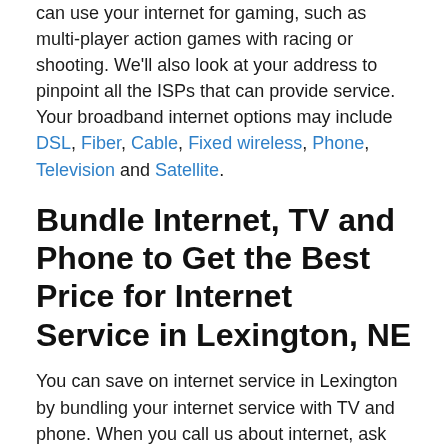can use your internet for gaming, such as multi-player action games with racing or shooting. We'll also look at your address to pinpoint all the ISPs that can provide service. Your broadband internet options may include DSL, Fiber, Cable, Fixed wireless, Phone, Television and Satellite.
Bundle Internet, TV and Phone to Get the Best Price for Internet Service in Lexington, NE
You can save on internet service in Lexington by bundling your internet service with TV and phone. When you call us about internet, ask about your options for cable TV and satellite TV. While we're talking, you'll want to learn about telephone service options and determine if you want a traditional landline or VoIP phone service. Almost all ISPs offer internet, digital TV and phone bundles with various additional features and discounts.